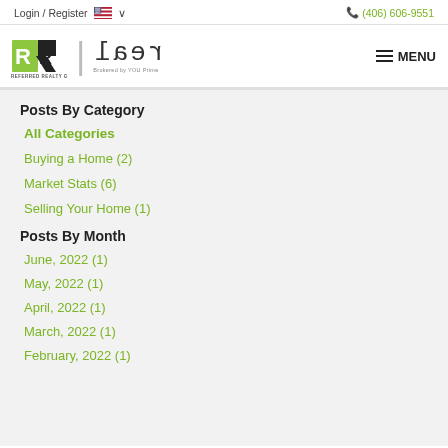Login / Register   🇺🇸 ∨   (406) 606-9551
[Figure (logo): Referred Realty Group logo and Real brokered by YOU Prime logo with MENU button]
Posts By Category
All Categories
Buying a Home  (2)
Market Stats  (6)
Selling Your Home  (1)
Posts By Month
June, 2022  (1)
May, 2022  (1)
April, 2022  (1)
March, 2022  (1)
February, 2022  (1)